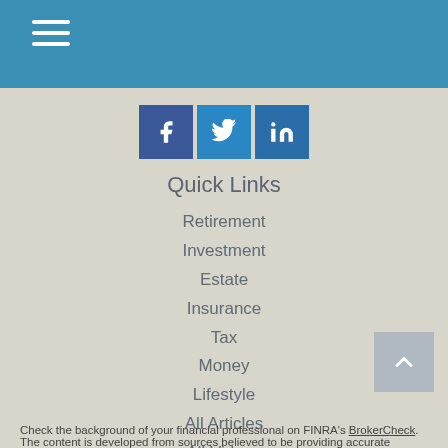Navigation menu header bar with hamburger icon
[Figure (other): Social media icon buttons: Facebook, Twitter, LinkedIn]
Quick Links
Retirement
Investment
Estate
Insurance
Tax
Money
Lifestyle
All Articles
All Videos
All Calculators
All Presentations
Check the background of your financial professional on FINRA's BrokerCheck.
The content is developed from sources believed to be providing accurate